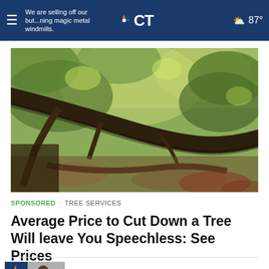≡  We are selling off our but...ning magic metal windmills.  NBC CT  ☁ 87°
[Figure (photo): Outdoor scene showing fallen tree branches and dense foliage with sunlight filtering through leaves, appears to be a forest or wooded area after tree cutting or storm damage.]
SPONSORED · TREE SERVICES
Average Price to Cut Down a Tree Will leave You Speechless: See Prices
[Figure (screenshot): Bottom card showing NBC CT logo thumbnail with a person and COMMANDERS label in blue text]